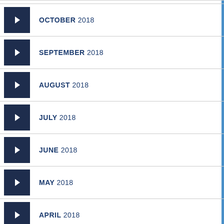OCTOBER 2018
SEPTEMBER 2018
AUGUST 2018
JULY 2018
JUNE 2018
MAY 2018
APRIL 2018
MARCH 2018
FEBRUARY 2018
JANUARY 2018